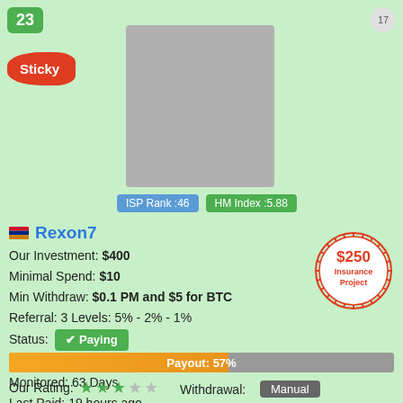23
17
Sticky
[Figure (photo): Company logo placeholder image (gray rectangle)]
ISP Rank :46
HM Index :5.88
Rexon7
Our Investment: $400
Minimal Spend: $10
Min Withdraw: $0.1 PM and $5 for BTC
Referral: 3 Levels: 5% - 2% - 1%
Status: ✔ Paying
Online: 2022-06-30 (63 D)
Monitored: 63 Days
Last Paid: 19 hours ago
[Figure (infographic): $250 Insurance Project stamp/seal in red]
Payout: 57%
Our Rating:
Withdrawal: Manual